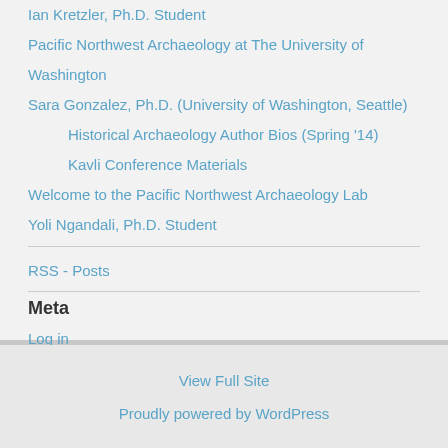Ian Kretzler, Ph.D. Student
Pacific Northwest Archaeology at The University of Washington
Sara Gonzalez, Ph.D. (University of Washington, Seattle)
Historical Archaeology Author Bios (Spring '14)
Kavli Conference Materials
Welcome to the Pacific Northwest Archaeology Lab
Yoli Ngandali, Ph.D. Student
RSS - Posts
Meta
Log in
Entries RSS
Comments RSS
WordPress.org
View Full Site
Proudly powered by WordPress